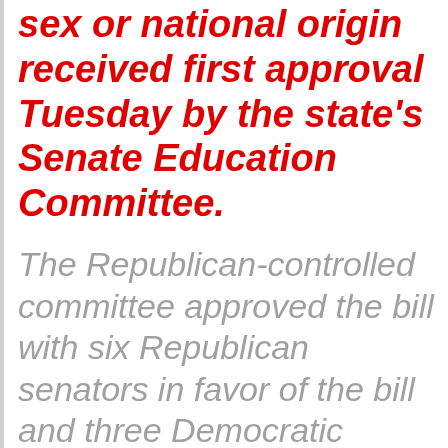sex or national origin received first approval Tuesday by the state's Senate Education Committee.
The Republican-controlled committee approved the bill with six Republican senators in favor of the bill and three Democratic senators opposed